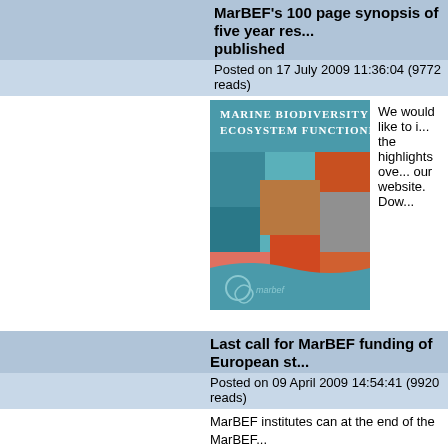MarBEF's 100 page synopsis of five year res... published
Posted on 17 July 2009 11:36:04 (9772 reads)
[Figure (photo): Book cover: Marine Biodiversity & Ecosystem Functioning, showing collage of marine life and scientists, teal background, marbef logo]
We would like to i... the highlights ove... our website. Dow...
Last call for MarBEF funding of European st...
Posted on 09 April 2009 14:54:41 (9920 reads)
MarBEF institutes can at the end of the MarBEF... Erasmus Mundus Master Course Marine Biodiv... one of the outcomes of the MarBEF network.
Marine Biodiversity WIKI goes live
Posted on 05 January 2009 14:48:34 (10761 re...
Under the banner of MarBEF (Marine Biodive...